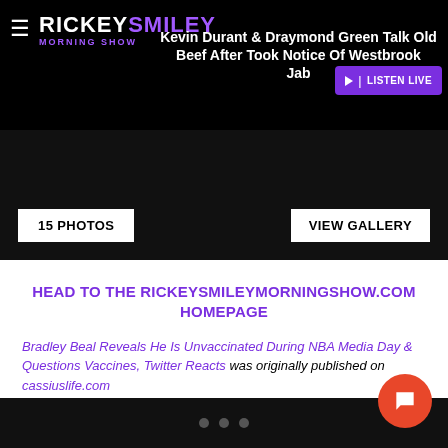RICKEY SMILEY MORNING SHOW
Kevin Durant & Draymond Green Talk Old Beef After Took Notice Of Westbrook Jab
[Figure (screenshot): Photo strip with black background showing 15 PHOTOS and VIEW GALLERY buttons]
HEAD TO THE RICKEYSMILEYMORNINGSHOW.COM HOMEPAGE
Bradley Beal Reveals He Is Unvaccinated During NBA Media Day & Questions Vaccines, Twitter Reacts was originally published on cassiuslife.com
BRADLEY BEAL , NBA , VACCINE